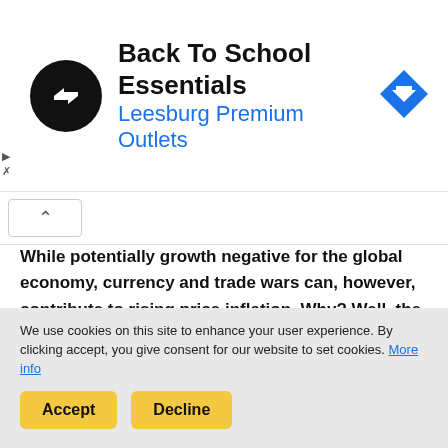[Figure (other): Advertisement banner for Back To School Essentials at Leesburg Premium Outlets, showing a circular logo with arrows, the ad title in bold black, subtitle in blue, and a blue diamond navigation icon on the right.]
While potentially growth negative for the global economy, currency and trade wars can, however, contribute to rising price inflation. Why? Well, the weapons of currency wars are the printing presses. The more you print, the more you can weaken your currency, or at a minimum prevent it from rising. He who prints most, devalues most and “wins”. But if all print in equal measure, exchange rates don’t
We use cookies on this site to enhance your user experience. By clicking accept, you give consent for our website to set cookies. More info
Accept   Decline